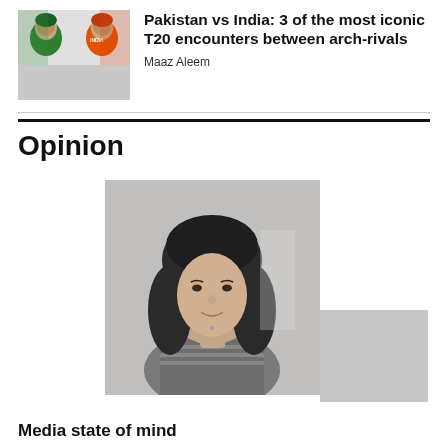[Figure (photo): Photo of cricket players in Pakistan (green) and India (orange) team kit facing each other]
Pakistan vs India: 3 of the most iconic T20 encounters between arch-rivals
Maaz Aleem
Opinion
[Figure (photo): Black and white portrait photo of a woman with dark shoulder-length hair, smiling slightly, seated indoors]
Media state of mind